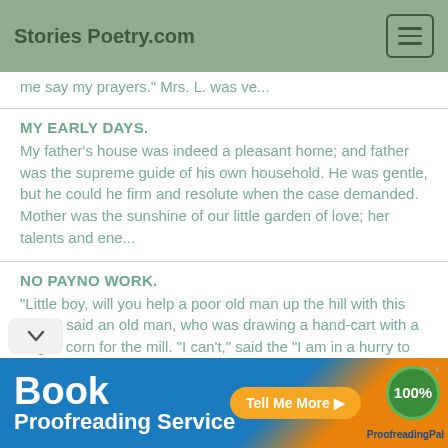Stories Poetry.com
me say my prayers." Mrs. L. was ve...
MY EARLY DAYS.
My father's house was indeed a pleasant home; and father was the supreme guide of his own household. He was gentle, but he could he firm and resolute when the case demanded. Mother was the sunshine of our little garden of love; her talents and ene...
NO PAYNO WORK.
"Little boy, will you help a poor old man up the hill with this load?" said an old man, who was drawing a hand-cart with a bag of corn for the mill. "I can't," said the "I am in a hurry to be at school." As the old man
[Figure (screenshot): Advertisement banner for Book Proofreading Service by ProofreadingPal with an orange 'Tell Me More' button and a green 100% badge]